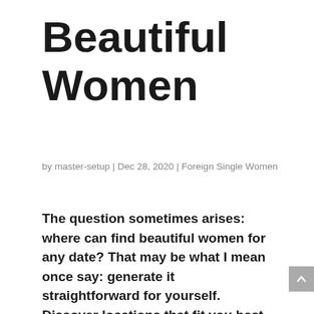Beautiful Women
by master-setup | Dec 28, 2020 | Foreign Single Women
The question sometimes arises: where can find beautiful women for any date? That may be what I mean once say: generate it straightforward for yourself. Discover locations that fit you best. Here are some tips in order to find these special females with individuality that meet your